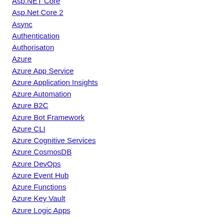Asp.NET Core
Asp.Net Core 2
Async
Authentication
Authorisaton
Azure
Azure App Service
Azure Application Insights
Azure Automation
Azure B2C
Azure Bot Framework
Azure CLI
Azure Cognitive Services
Azure CosmosDB
Azure DevOps
Azure Event Hub
Azure Functions
Azure Key Vault
Azure Logic Apps